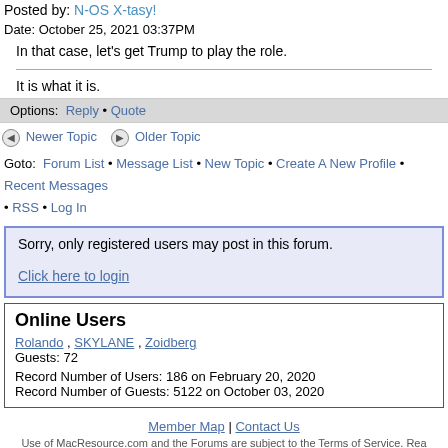Posted by: N-OS X-tasy!
Date: October 25, 2021 03:37PM
In that case, let's get Trump to play the role.
It is what it is.
Options: Reply • Quote
Newer Topic   Older Topic
Goto: Forum List • Message List • New Topic • Create A New Profile • Recent Messages • RSS • Log In
Sorry, only registered users may post in this forum.
Click here to login
Online Users
Rolando , SKYLANE , Zoidberg
Guests: 72
Record Number of Users: 186 on February 20, 2020
Record Number of Guests: 5122 on October 03, 2020
Member Map | Contact Us
Use of MacResource.com and the Forums are subject to the Terms of Service. MacResource.com; All Rights Reserved. All other copyrights are property of the